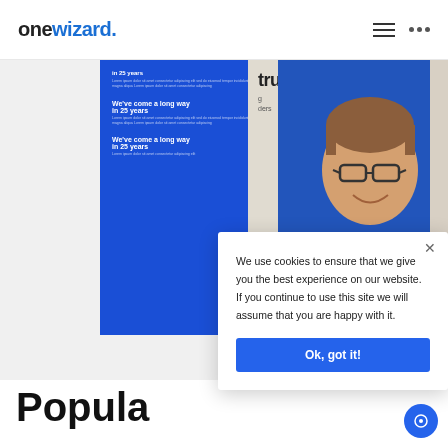onewizard.
[Figure (screenshot): Website screenshot showing onewizard.com with a blue panel featuring text 'We've come a long way in 25 years', two men smiling, and partial text 'tructure' on the right side]
We use cookies to ensure that we give you the best experience on our website. If you continue to use this site we will assume that you are happy with it.
Ok, got it!
Popula